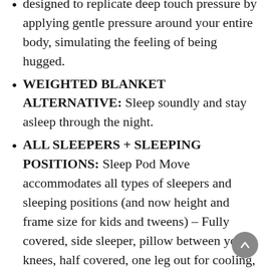designed to replicate deep touch pressure by applying gentle pressure around your entire body, simulating the feeling of being hugged.
WEIGHTED BLANKET ALTERNATIVE: Sleep soundly and stay asleep through the night.
ALL SLEEPERS + SLEEPING POSITIONS: Sleep Pod Move accommodates all types of sleepers and sleeping positions (and now height and frame size for kids and tweens) – Fully covered, side sleeper, pillow between your knees, half covered, one leg out for cooling, back sleeper, and more.
EVEN EASIER TO USE: Simply step, scoop, swaddle, sleep (and now, get up if needed)! While in bed, slip inside Sleep Pod Move so that the top seam is at a comfortable height.
USA MADE: Sleep Pod Move is made from a